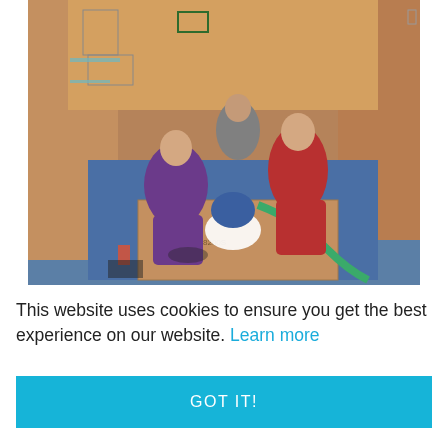[Figure (photo): Children sitting inside a structure made of large cardboard boxes on a blue gymnasium floor, working on a project together. One girl in purple hoodie holds something, another in red shirt smiles at camera, a third sits in the background, and a fourth child in a blue hat and white top is visible in the foreground.]
This website uses cookies to ensure you get the best experience on our website. Learn more
GOT IT!